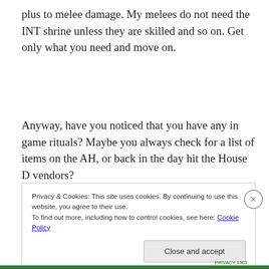plus to melee damage. My melees do not need the INT shrine unless they are skilled and so on. Get only what you need and move on.
Anyway, have you noticed that you have any in game rituals? Maybe you always check for a list of items on the AH, or back in the day hit the House D vendors?
Privacy & Cookies: This site uses cookies. By continuing to use this website, you agree to their use.
To find out more, including how to control cookies, see here: Cookie Policy